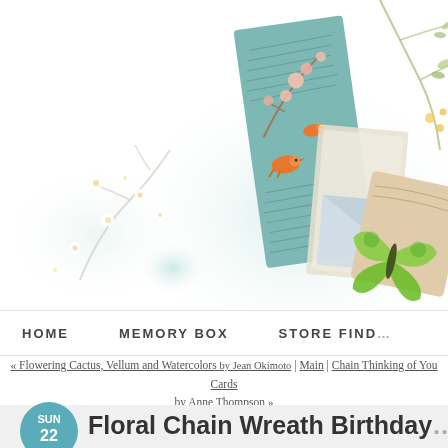[Figure (illustration): Decorative banner with watercolor floral elements, cards with birds and botanical illustrations, butterfly, soft green and white tones]
HOME   MEMORY BOX   STORE FIND...
« Flowering Cactus, Vellum and Watercolors by Jean Okimoto | Main | Chain Thinking of You Cards by Anne Thompson »
Floral Chain Wreath Birthday...